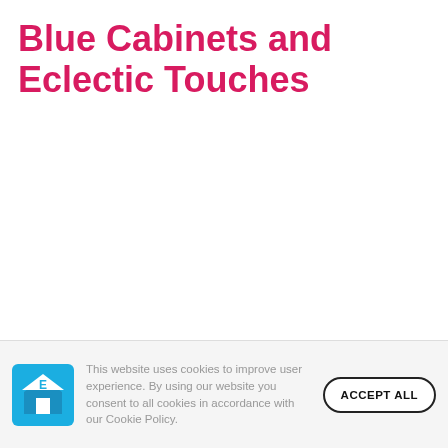Blue Cabinets and Eclectic Touches
This website uses cookies to improve user experience. By using our website you consent to all cookies in accordance with our Cookie Policy.